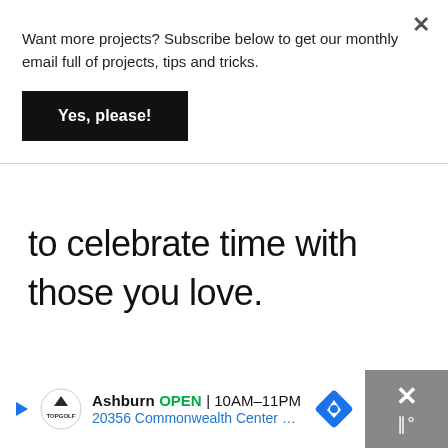Want more projects? Subscribe below to get our monthly email full of projects, tips and tricks.
Yes, please!
×
to celebrate time with those you love.
Ashburn  OPEN  10AM–11PM  20356 Commonwealth Center …